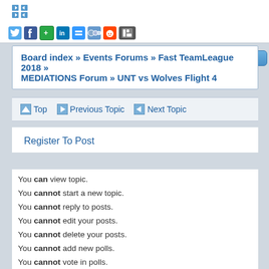[Figure (screenshot): Social sharing icons toolbar with Twitter, Facebook, Google+, LinkedIn, Delicious, MySpace, Reddit, Digg icons, plus a blue Report button and an up arrow button on the right]
Board index » Events Forums » Fast TeamLeague 2018 » MEDIATIONS Forum » UNT vs Wolves Flight 4
Top  Previous Topic  Next Topic
Register To Post
You can view topic.
You cannot start a new topic.
You cannot reply to posts.
You cannot edit your posts.
You cannot delete your posts.
You cannot add new polls.
You cannot vote in polls.
You cannot attach files to posts.